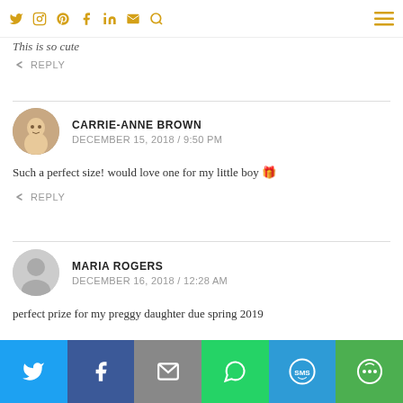Social media icons navigation bar
This is so cute
REPLY
CARRIE-ANNE BROWN
DECEMBER 15, 2018 / 9:50 PM
Such a perfect size! would love one for my little boy 🎁
REPLY
MARIA ROGERS
DECEMBER 16, 2018 / 12:28 AM
perfect prize for my preggy daughter due spring 2019
Share buttons: Twitter, Facebook, Email, WhatsApp, SMS, More